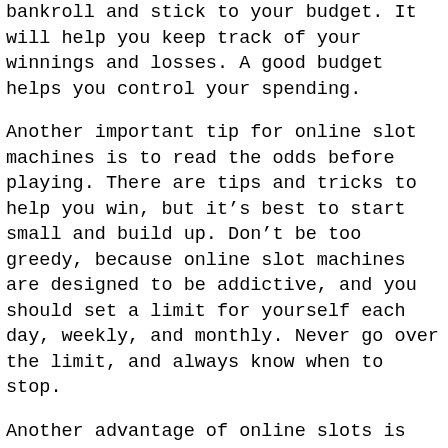bankroll and stick to your budget. It will help you keep track of your winnings and losses. A good budget helps you control your spending.
Another important tip for online slot machines is to read the odds before playing. There are tips and tricks to help you win, but it's best to start small and build up. Don't be too greedy, because online slot machines are designed to be addictive, and you should set a limit for yourself each day, weekly, and monthly. Never go over the limit, and always know when to stop.
Another advantage of online slots is that you can play them anytime, from your home to your smartphone or tablet. Plus, they're also more fun than in land-based casinos. Moreover, you can play multiple slots at the same time and